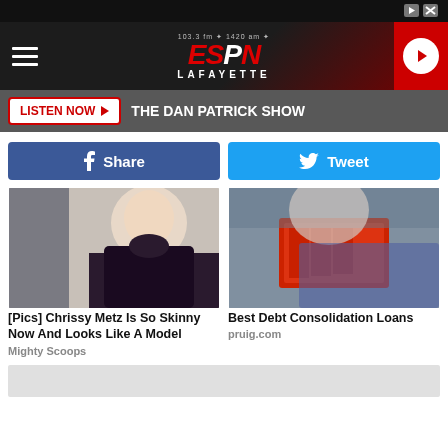ESPN Lafayette 103.3 FM / 1420 AM
LISTEN NOW ▶  THE DAN PATRICK SHOW
Share  Tweet
[Figure (photo): Woman in floral dress walking]
[Pics] Chrissy Metz Is So Skinny Now And Looks Like A Model
Mighty Scoops
[Figure (photo): Medical professional in mask holding red wallet]
Best Debt Consolidation Loans
pruig.com